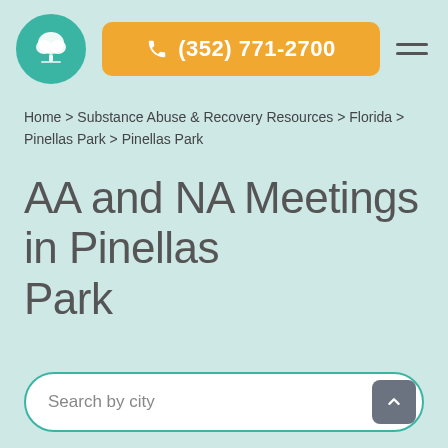[Figure (logo): Teal circular logo with white tree icon]
[Figure (other): Orange phone button with text (352) 771-2700]
[Figure (other): Hamburger menu icon (three horizontal bars)]
Home > Substance Abuse & Recovery Resources > Florida > Pinellas Park > Pinellas Park
AA and NA Meetings in Pinellas Park
Search by city